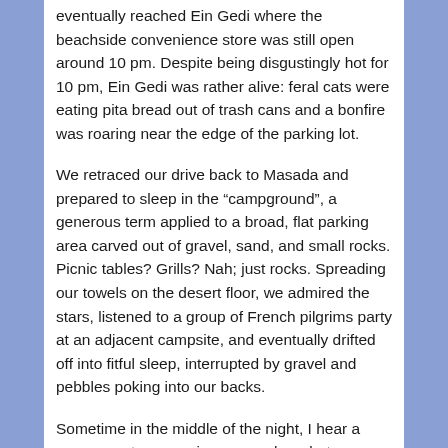eventually reached Ein Gedi where the beachside convenience store was still open around 10 pm. Despite being disgustingly hot for 10 pm, Ein Gedi was rather alive: feral cats were eating pita bread out of trash cans and a bonfire was roaring near the edge of the parking lot.
We retraced our drive back to Masada and prepared to sleep in the “campground”, a generous term applied to a broad, flat parking area carved out of gravel, sand, and small rocks. Picnic tables? Grills? Nah; just rocks. Spreading our towels on the desert floor, we admired the stars, listened to a group of French pilgrims party at an adjacent campsite, and eventually drifted off into fitful sleep, interrupted by gravel and pebbles poking into our backs.
Sometime in the middle of the night, I hear a very very strange noise: somewhere between clearing one’s throat and squeegeeing a bathtub. I turned over, unable to place the sound, focusing instead on how absurdly warm it was—without blankets, we were still baking in the desert night. Whatever that sound had been, it was not worse